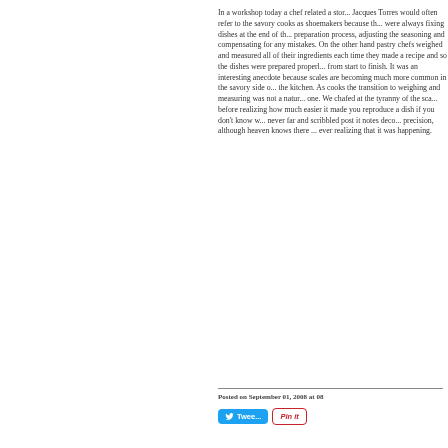In a workshop today a chef related a story. Jacques Torres would often refer to the savory cooks as shoemakers because they were always fixing dishes at the end of the preparation process, adjusting the seasoning and compensating for any mistakes. On the other hand pastry chefs weighed and measured all of their ingredients each time they made a recipe and so the dishes were prepared properly from start to finish. It was an interesting anecdote because scales are becoming much more common in the savory side of the kitchen. As cooks the transition to weighing and measuring was not a natural one. We chafed at the tyranny of the scale before realizing how much easier it made you reproduce a dish if you don't know w... never far and scribbled post it notes deco... precision, although heaven knows there ... ever realizing that it was happening.
Posted on September 01, 2008 at 08...
[Figure (other): Tweet button (blue) and Pin it button (white with red border)]